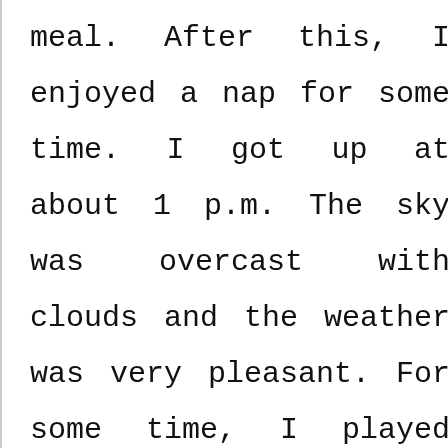meal. After this, I enjoyed a nap for some time. I got up at about 1 p.m. The sky was overcast with clouds and the weather was very pleasant. For some time, I played cards with my younger brothers and sisters.